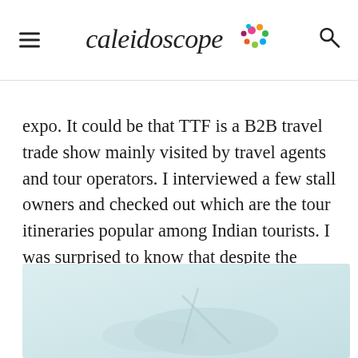Caleidoscope
expo. It could be that TTF is a B2B travel trade show mainly visited by travel agents and tour operators. I interviewed a few stall owners and checked out which are the tour itineraries popular among Indian tourists. I was surprised to know that despite the plethora of travel options on offer, most tourists asked for only three options – beach & booze locations, honeymoon packages, shopping destinations!
[Figure (photo): A light blue-tinted photograph, partially visible at the bottom of the page, showing what appears to be an outdoor scene.]